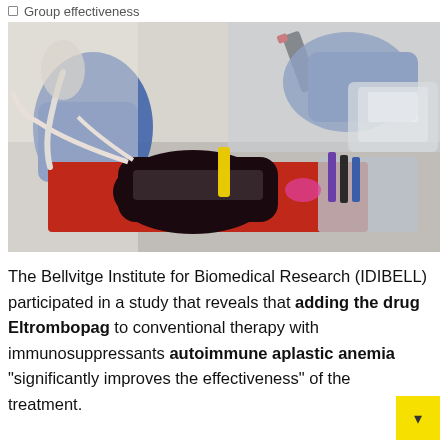Group effectiveness
[Figure (photo): Medical/laboratory photo showing two healthcare workers in blue gloves and white lab coats handling a blood collection bag on a red tray, with various medical supplies and tubes visible on the surface.]
The Bellvitge Institute for Biomedical Research (IDIBELL) participated in a study that reveals that adding the drug Eltrombopag to conventional therapy with immunosuppressants autoimmune aplastic anemia “significantly improves the effectiveness” of the treatment.